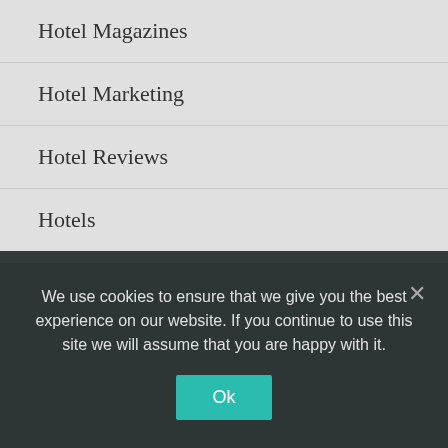Hotel Magazines
Hotel Marketing
Hotel Reviews
Hotels
About Us
Contact Us
DMCA
Privacy Policy
We use cookies to ensure that we give you the best experience on our website. If you continue to use this site we will assume that you are happy with it.
Ok